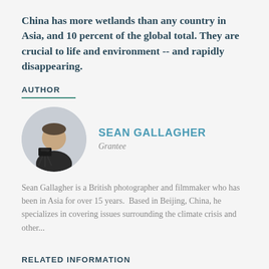China has more wetlands than any country in Asia, and 10 percent of the global total. They are crucial to life and environment -- and rapidly disappearing.
AUTHOR
[Figure (photo): Circular black and white headshot of Sean Gallagher holding a camera on a tripod]
SEAN GALLAGHER
Grantee
Sean Gallagher is a British photographer and filmmaker who has been in Asia for over 15 years.  Based in Beijing, China, he specializes in covering issues surrounding the climate crisis and other...
RELATED INFORMATION